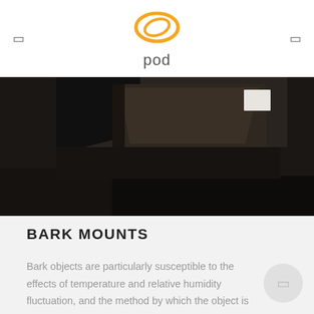pod
[Figure (photo): Close-up dark photo of a bark mount display object, showing angular dark wooden or black surfaces with a small white rectangular label or object visible in the upper right area.]
BARK MOUNTS
Bark objects are particularly susceptible to the effects of temperature and relative humidity fluctuation, and the method by which the object is displayed can cause